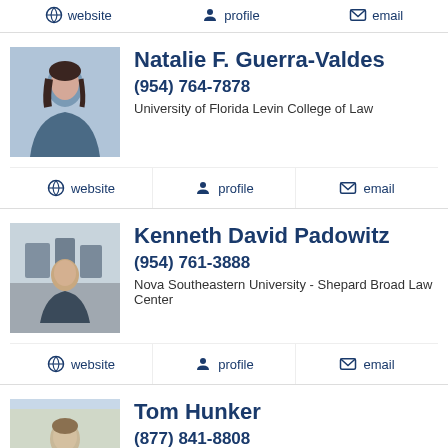website | profile | email
Natalie F. Guerra-Valdes
(954) 764-7878
University of Florida Levin College of Law
website | profile | email
Kenneth David Padowitz
(954) 761-3888
Nova Southeastern University - Shepard Broad Law Center
website | profile | email
Tom Hunker
(877) 841-8808